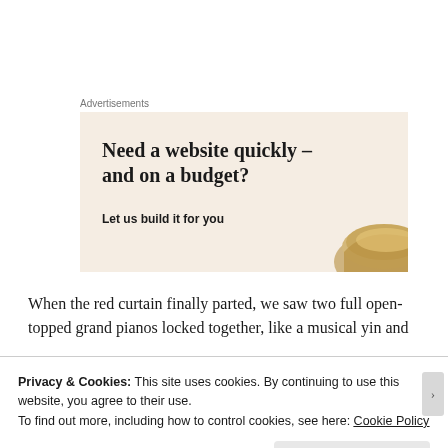Advertisements
[Figure (illustration): Advertisement banner with beige/cream background. Large serif headline text reading 'Need a website quickly – and on a budget?' with subtext 'Let us build it for you'. A partial golden/brass bowl image visible on the right side.]
When the red curtain finally parted, we saw two full open-topped grand pianos locked together, like a musical yin and
Privacy & Cookies: This site uses cookies. By continuing to use this website, you agree to their use.
To find out more, including how to control cookies, see here: Cookie Policy
Close and accept
WORDPRESS.COM